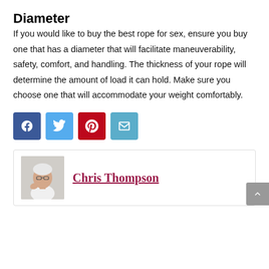Diameter
If you would like to buy the best rope for sex, ensure you buy one that has a diameter that will facilitate maneuverability, safety, comfort, and handling. The thickness of your rope will determine the amount of load it can hold. Make sure you choose one that will accommodate your weight comfortably.
[Figure (infographic): Social share buttons: Facebook, Twitter, Pinterest, Email]
[Figure (photo): Author photo of Chris Thompson, an elderly person with white hair and glasses, wearing a white shirt]
Chris Thompson